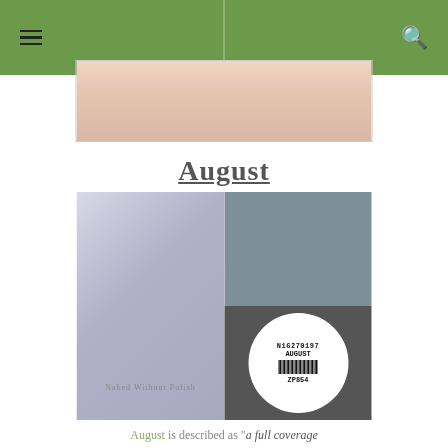Navigation bar with hamburger menu and search icon
[Figure (photo): Close-up photo of hand/fingers with nail polish, cropped at top of page]
August
[Figure (photo): Composite product photo: left side shows Zoya nail polish bottle in light grey/blue color with black cap and 'Naked Without Polish' text; top right shows grey-blue color swatch; bottom right shows bottle bottom with barcode label reading N16270197, AUGUST, ZP854]
August is described as "a full coverage